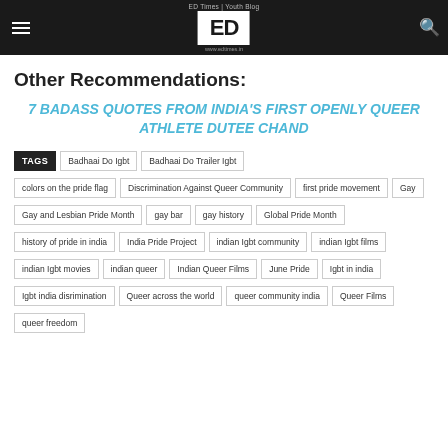ED Times | Youth Blog — www.edtimes.in
Other Recommendations:
7 BADASS QUOTES FROM INDIA'S FIRST OPENLY QUEER ATHLETE DUTEE CHAND
TAGS: Badhaai Do Igbt | Badhaai Do Trailer Igbt | colors on the pride flag | Discrimination Against Queer Community | first pride movement | Gay | Gay and Lesbian Pride Month | gay bar | gay history | Global Pride Month | history of pride in india | India Pride Project | indian Igbt community | indian Igbt films | indian Igbt movies | indian queer | Indian Queer Films | June Pride | Igbt in india | Igbt india disrimination | Queer across the world | queer community india | Queer Films | queer freedom